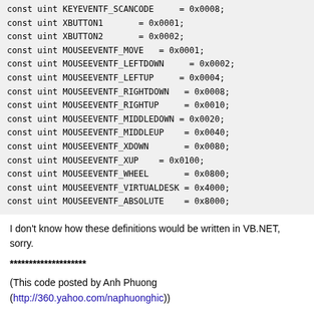const uint KEYEVENTF_SCANCODE = 0x0008;
const uint XBUTTON1 = 0x0001;
const uint XBUTTON2 = 0x0002;
const uint MOUSEEVENTF_MOVE = 0x0001;
const uint MOUSEEVENTF_LEFTDOWN = 0x0002;
const uint MOUSEEVENTF_LEFTUP = 0x0004;
const uint MOUSEEVENTF_RIGHTDOWN = 0x0008;
const uint MOUSEEVENTF_RIGHTUP = 0x0010;
const uint MOUSEEVENTF_MIDDLEDOWN = 0x0020;
const uint MOUSEEVENTF_MIDDLEUP = 0x0040;
const uint MOUSEEVENTF_XDOWN = 0x0080;
const uint MOUSEEVENTF_XUP = 0x0100;
const uint MOUSEEVENTF_WHEEL = 0x0800;
const uint MOUSEEVENTF_VIRTUALDESK = 0x4000;
const uint MOUSEEVENTF_ABSOLUTE = 0x8000;
I don't know how these definitions would be written in VB.NET, sorry.
********************
(This code posted by Anh Phuong
(http://360.yahoo.com/naphuonghic))
Code VB here:
Const INPUT_MOUSE As Integer = 0
Const INPUT_KEYBOARD As Integer = 1